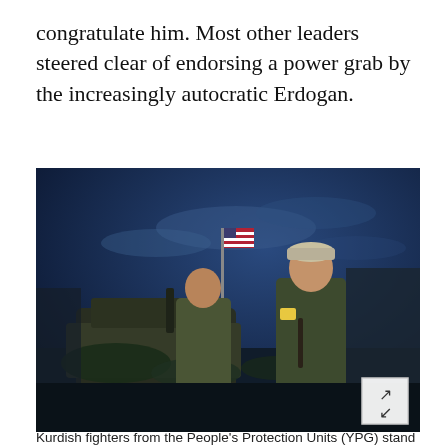congratulate him. Most other leaders steered clear of endorsing a power grab by the increasingly autocratic Erdogan.
[Figure (photo): Two Kurdish fighters in military camouflage uniforms standing near a military vehicle at dusk/night. An American flag is visible in the background. The sky is deep blue. One fighter wears a cap and has a yellow patch on his arm.]
Kurdish fighters from the People's Protection Units (YPG) stand near a U.S. military vehicle on the outskirts of Turkish...